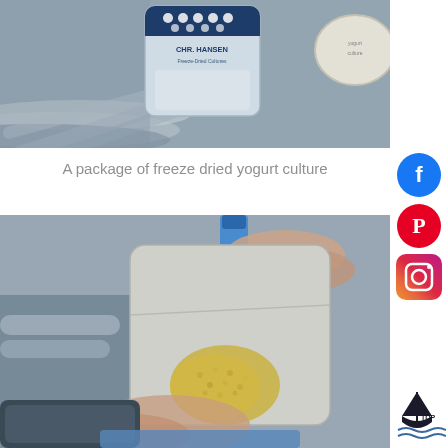[Figure (photo): A photograph showing stainless steel equipment tubes with a CHR. HANSEN freeze dried yogurt culture package (blue and white with dot pattern) and a yogurt container visible in the upper right corner.]
A package of freeze dried yogurt culture
[Figure (photo): A photograph showing hands opening a small foil/paper package of freeze dried yogurt culture powder, with yellow granular powder visible inside the packet, and stainless steel equipment in the background. A blue spatula/tool is also visible.]